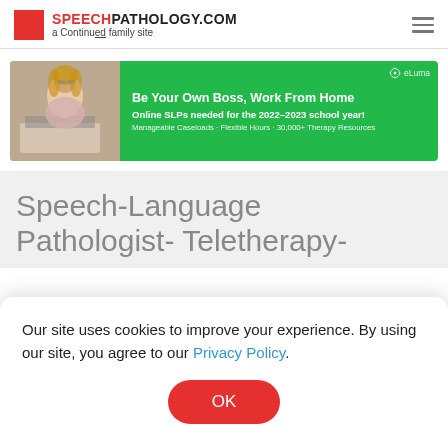SPEECHPATHOLOGY.COM — a Continued family site
[Figure (infographic): eLuma ad banner: 'Be Your Own Boss, Work From Home. Online SLPs needed for the 2022-2023 school year! Manageable Caseloads + Flexible Hours + 30,000+ Therapy Resources']
Speech-Language Pathologist- Teletherapy-
Our site uses cookies to improve your experience. By using our site, you agree to our Privacy Policy.
OK